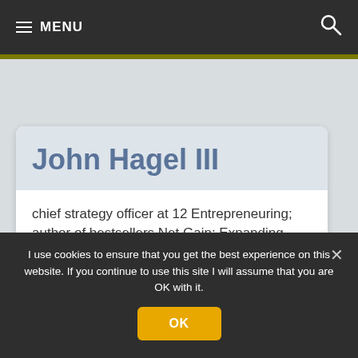MENU
John Hagel III
chief strategy officer at 12 Entrepreneuring; author of bestsellers Net Gain: Expanding Markets Through Virtual Communities and Net Worth: Shaping Markets When Customers Make the Rules
I use cookies to ensure that you get the best experience on this website. If you continue to use this site I will assume that you are OK with it.